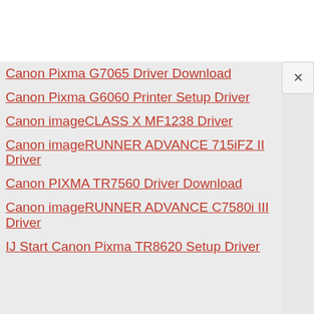[Figure (screenshot): White top bar area of a browser or app]
Canon Pixma G7065 Driver Download
Canon Pixma G6060 Printer Setup Driver
Canon imageCLASS X MF1238 Driver
Canon imageRUNNER ADVANCE 715iFZ II Driver
Canon PIXMA TR7560 Driver Download
Canon imageRUNNER ADVANCE C7580i III Driver
IJ Start Canon Pixma TR8620 Setup Driver